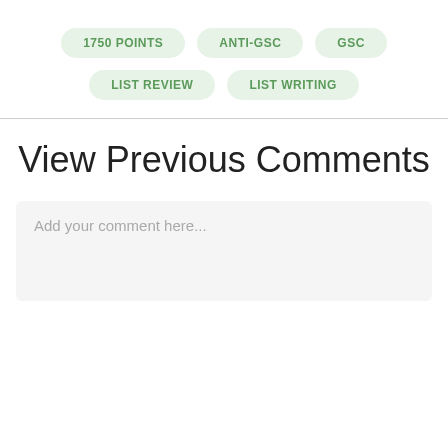1750 POINTS
ANTI-GSC
GSC
LIST REVIEW
LIST WRITING
View Previous Comments
Add your comment here...